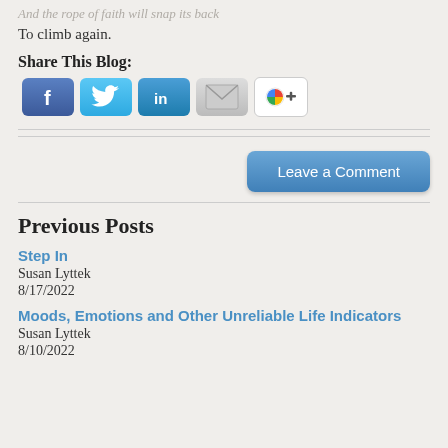And the rope of faith will snap its back
To climb again.
Share This Blog:
[Figure (illustration): Five social media sharing icons: Facebook (blue with f), Twitter (blue with bird), LinkedIn (blue with in), Email (grey envelope), Google+ (white with Google colors)]
[Figure (other): Leave a Comment button (blue rounded rectangle)]
Previous Posts
Step In
Susan Lyttek
8/17/2022
Moods, Emotions and Other Unreliable Life Indicators
Susan Lyttek
8/10/2022